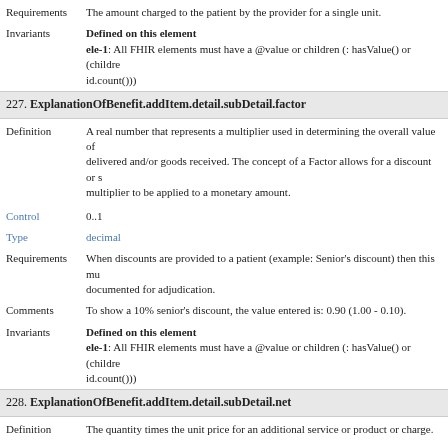Requirements   The amount charged to the patient by the provider for a single unit.
Invariants   Defined on this element
ele-1: All FHIR elements must have a @value or children (: hasValue() or (children().exclude(id|extension).count() > id.count()))
227. ExplanationOfBenefit.addItem.detail.subDetail.factor
Definition   A real number that represents a multiplier used in determining the overall value of services delivered and/or goods received. The concept of a Factor allows for a discount or surcharge multiplier to be applied to a monetary amount.
Control   0..1
Type   decimal
Requirements   When discounts are provided to a patient (example: Senior's discount) then this multiplier must be documented for adjudication.
Comments   To show a 10% senior's discount, the value entered is: 0.90 (1.00 - 0.10).
Invariants   Defined on this element
ele-1: All FHIR elements must have a @value or children (: hasValue() or (children().exclude(id|extension).count() > id.count()))
228. ExplanationOfBenefit.addItem.detail.subDetail.net
Definition   The quantity times the unit price for an additional service or product or charge.
Control   0..1
Type   Money
Requirements   Provides the total amount claimed for the group (if a grouper) or the line item.
Comments   For example, the formula: quantity * unitPrice * factor = net. Quantity and factor are assumed to be 1 if not supplied.
Invariants   Defined on this element